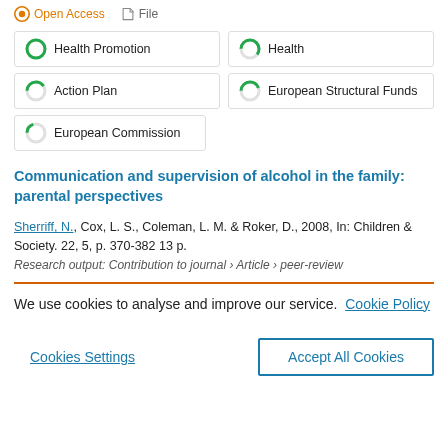Open Access   File
Health Promotion
Health
Action Plan
European Structural Funds
European Commission
Communication and supervision of alcohol in the family: parental perspectives
Sherriff, N., Cox, L. S., Coleman, L. M. & Roker, D., 2008, In: Children & Society. 22, 5, p. 370-382 13 p.
Research output: Contribution to journal › Article › peer-review
We use cookies to analyse and improve our service.  Cookie Policy
Cookies Settings
Accept All Cookies